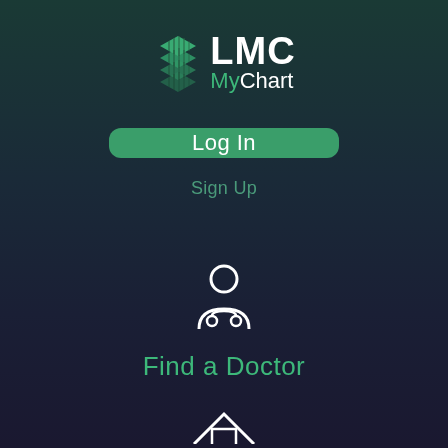[Figure (logo): LMC MyChart logo with stylized diamond/chevron icon in teal/green, text 'LMC' in white bold and 'MyChart' with 'My' in green and 'Chart' in white]
Log In
Sign Up
[Figure (illustration): White outline icon of a doctor/physician figure with stethoscope]
Find a Doctor
[Figure (illustration): Partial white house/home icon visible at bottom of screen]